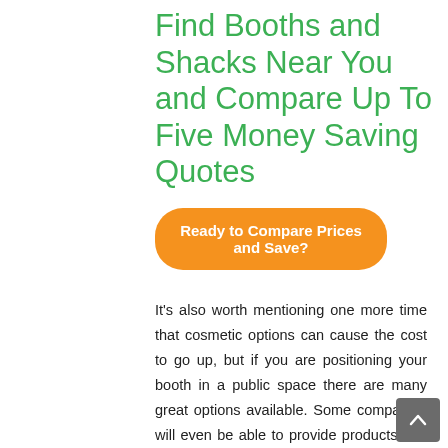Find Booths and Shacks Near You and Compare Up To Five Money Saving Quotes
[Figure (other): Orange rounded rectangle button with text 'Ready to Compare Prices and Save?']
It's also worth mentioning one more time that cosmetic options can cause the cost to go up, but if you are positioning your booth in a public space there are many great options available. Some companies will even be able to provide products that are finished in colors